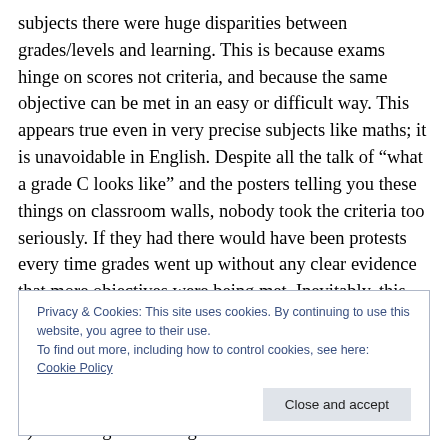subjects there were huge disparities between grades/levels and learning. This is because exams hinge on scores not criteria, and because the same objective can be met in an easy or difficult way. This appears true even in very precise subjects like maths; it is unavoidable in English. Despite all the talk of “what a grade C looks like” and the posters telling you these things on classroom walls, nobody took the criteria too seriously. If they had there would have been protests every time grades went up without any clear evidence that more objectives were being met. Inevitably, this has only been dredged up now
Privacy & Cookies: This site uses cookies. By continuing to use this website, you agree to their use.
To find out more, including how to control cookies, see here: Cookie Policy
2) If nothing was wrong there wouldn’t be all these